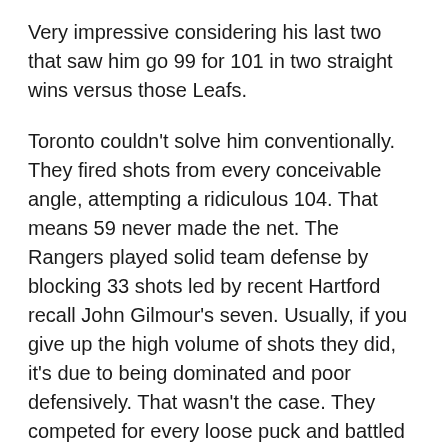Very impressive considering his last two that saw him go 99 for 101 in two straight wins versus those Leafs.
Toronto couldn't solve him conventionally. They fired shots from every conceivable angle, attempting a ridiculous 104. That means 59 never made the net. The Rangers played solid team defense by blocking 33 shots led by recent Hartford recall John Gilmour's seven. Usually, if you give up the high volume of shots they did, it's due to being dominated and poor defensively. That wasn't the case. They competed for every loose puck and battled the Leafs in front.
It wasn't one sided either with the Blueshirts getting 28 shots on goal and finishing with 58 attempts. Sure. They were outshot 45-28 including 20-7 in the third period. But they made Toronto earn it. It actually took a broken play for